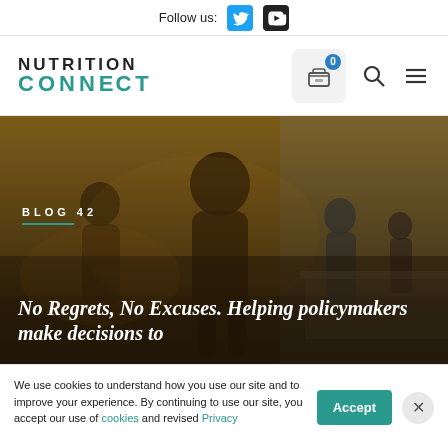Follow us:
[Figure (logo): Nutrition Connect logo with teal CONNECT wordmark]
[Figure (photo): People at a community or policy event, warm amber-tinted photo]
BLOG 42
No Regrets, No Excuses. Helping policymakers make decisions to
We use cookies to understand how you use our site and to improve your experience. By continuing to use our site, you accept our use of cookies and revised Privacy